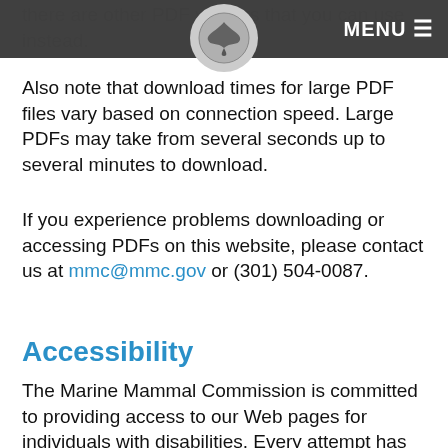MENU ≡
there are other PDF viewers that you can use instead.
Also note that download times for large PDF files vary based on connection speed. Large PDFs may take from several seconds up to several minutes to download.
If you experience problems downloading or accessing PDFs on this website, please contact us at mmc@mmc.gov or (301) 504-0087.
Accessibility
The Marine Mammal Commission is committed to providing access to our Web pages for individuals with disabilities. Every attempt has been made to make this site compliant with Section 508 of the Rehabilitation Act. Section 508 requires that individuals with disabilities, who are members of the public seeking information or services from a federal agency, have access to and use of information and data that are comparable to that provided